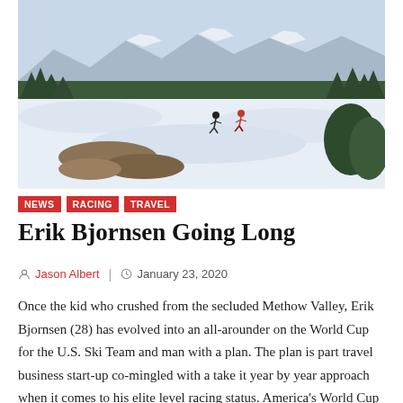[Figure (photo): Two cross-country skiers on a snowy valley landscape with pine trees and mountain peaks in the background. Snow-covered ground with exposed earth near a stream in the foreground.]
NEWS
RACING
TRAVEL
Erik Bjornsen Going Long
Jason Albert  |  January 23, 2020
Once the kid who crushed from the secluded Methow Valley, Erik Bjornsen (28) has evolved into an all-arounder on the World Cup for the U.S. Ski Team and man with a plan. The plan is part travel business start-up co-mingled with a take it year by year approach when it comes to his elite level racing status. America's World Cup skiers commonly remain in Europe over the holidays and prep for either the Tour de...